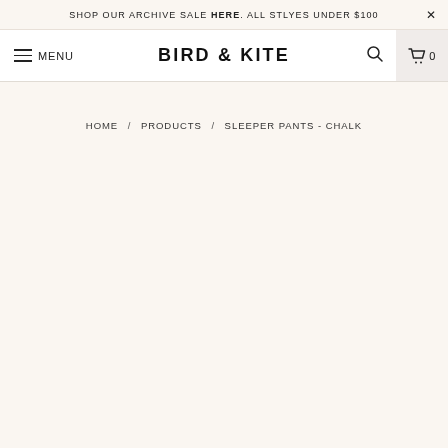SHOP OUR ARCHIVE SALE HERE. ALL STLYES UNDER $100
BIRD & KITE
HOME / PRODUCTS / SLEEPER PANTS - CHALK